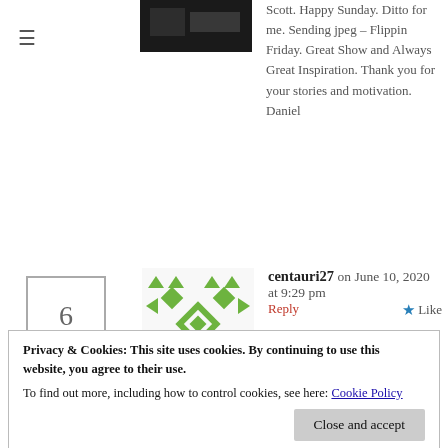[Figure (photo): Black thumbnail image of a person or scene]
Scott. Happy Sunday. Ditto for me. Sending jpeg – Flippin Friday. Great Show and Always Great Inspiration. Thank you for your stories and motivation. Daniel
6
[Figure (illustration): Green pixel/geometric pattern avatar for user centauri27]
centauri27 on June 10, 2020 at 9:29 pm  Reply  ★ Like
Hi Scott. I enjoyed your podcast with Ant Pruitt. I've listened to him many times on Leo Laporte's TWiT. He has
Privacy & Cookies: This site uses cookies. By continuing to use this website, you agree to their use.
To find out more, including how to control cookies, see here: Cookie Policy
reply that I should simply email it to